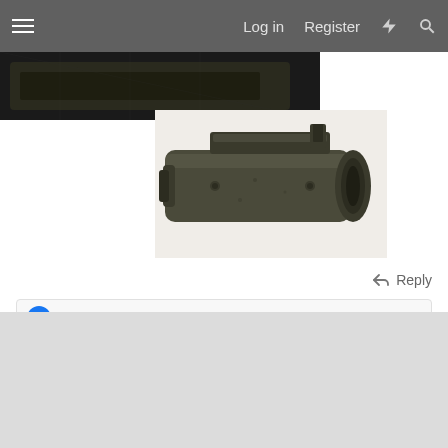Log in  Register
[Figure (photo): Partial view of a dark-colored firearm or weapon image, cropped at the top]
[Figure (photo): Close-up sepia/grayscale photograph of what appears to be a firearm barrel or cylinder with a sight/rail on top]
Reply
deadbolt